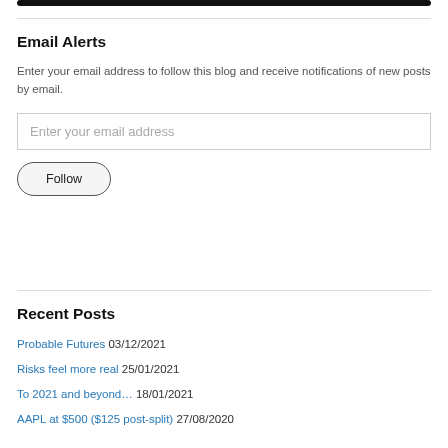[Figure (other): Dark rounded navigation bar at top of page]
Email Alerts
Enter your email address to follow this blog and receive notifications of new posts by email.
Enter your email address
Follow
Recent Posts
Probable Futures 03/12/2021
Risks feel more real 25/01/2021
To 2021 and beyond… 18/01/2021
AAPL at $500 ($125 post-split) 27/08/2020